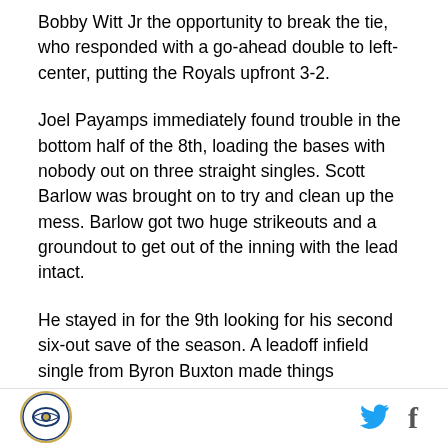Bobby Witt Jr the opportunity to break the tie, who responded with a go-ahead double to left-center, putting the Royals upfront 3-2.
Joel Payamps immediately found trouble in the bottom half of the 8th, loading the bases with nobody out on three straight singles. Scott Barlow was brought on to try and clean up the mess. Barlow got two huge strikeouts and a groundout to get out of the inning with the lead intact.
He stayed in for the 9th looking for his second six-out save of the season. A leadoff infield single from Byron Buxton made things interesting and after back-to-back fielder's choices, Gary Sanchez dropped a single in
[Figure (logo): Royals Review circular logo with baseball and oval design, gold and blue]
[Figure (logo): Twitter bird icon in cyan blue]
[Figure (logo): Facebook f icon in dark blue/gray]